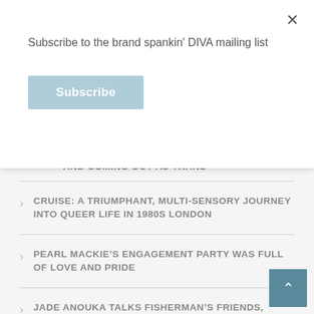Subscribe to the brand spankin' DIVA mailing list
Subscribe
AND COMING OUT AS TRANS
CRUISE: A TRIUMPHANT, MULTI-SENSORY JOURNEY INTO QUEER LIFE IN 1980S LONDON
PEARL MACKIE'S ENGAGEMENT PARTY WAS FULL OF LOVE AND PRIDE
JADE ANOUKA TALKS FISHERMAN'S FRIENDS, QUEER PARENTHOOD AND REPRESENTATION